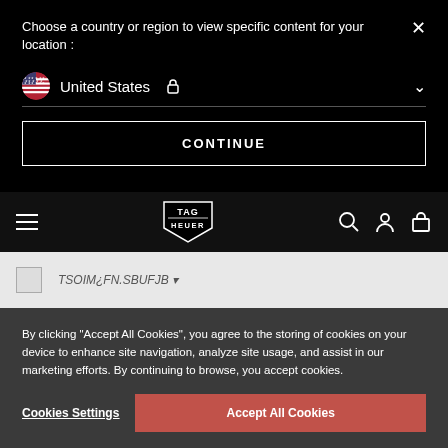Choose a country or region to view specific content for your location :
United States
CONTINUE
[Figure (logo): TAG Heuer shield logo in white on black navigation bar]
[Figure (photo): Small broken image placeholder with text partially visible]
By clicking "Accept All Cookies", you agree to the storing of cookies on your device to enhance site navigation, analyze site usage, and assist in our marketing efforts. By continuing to browse, you accept cookies.
Cookies Settings
Accept All Cookies